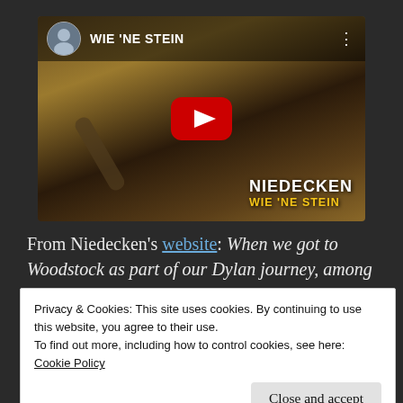[Figure (screenshot): YouTube video thumbnail for 'WIE NE STEIN' by Niedecken. Shows a man singing into a microphone wearing a wide-brim hat. Channel name shown at top with avatar. Red YouTube play button in center. 'NIEDECKEN WIE NE STEIN' text overlay at bottom right.]
From Niedecken’s website: When we got to Woodstock as part of our Dylan journey, among
Privacy & Cookies: This site uses cookies. By continuing to use this website, you agree to their use.
To find out more, including how to control cookies, see here:
Cookie Policy
Close and accept